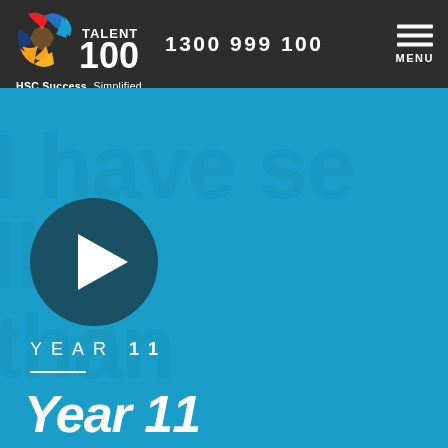[Figure (logo): Talent 100 logo with colourful cross icon, text 'TALENT 100' and tagline 'HSC Success. Simplified.']
1300 999 100
[Figure (other): Hamburger menu icon with three horizontal white lines and MENU text below]
[Figure (screenshot): Blue hero banner with large watermark text reading 'I have se...', 'ller than', 'tha...', play button circle in foreground]
YEAR 11
Year 11